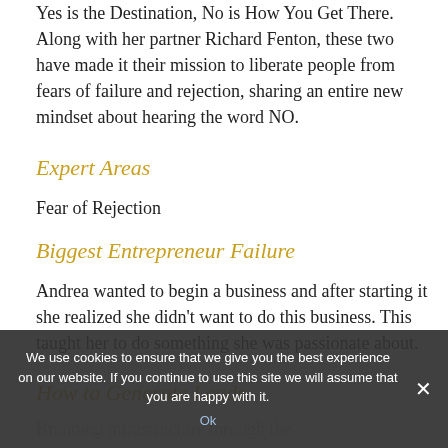Yes is the Destination, No is How You Get There. Along with her partner Richard Fenton, these two have made it their mission to liberate people from fears of failure and rejection, sharing an entire new mindset about hearing the word NO.
Expert Areas
Fear of Rejection
Biggest Entrepreneur Failure
Andrea wanted to begin a business and after starting it she realized she didn't want to do this business. This taught her to do something she was passionate about.
How to Generate Leads
Br[obscured]... influencing the influencer
Favorite Brand and Why?
Twitter. The fast-paced nature of it...
We use cookies to ensure that we give you the best experience on our website. If you continue to use this site we will assume that you are happy with it.